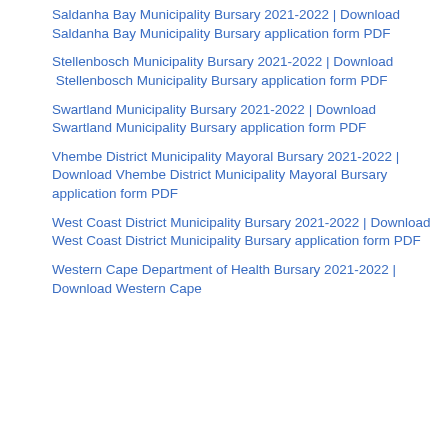Saldanha Bay Municipality Bursary 2021-2022 | Download Saldanha Bay Municipality Bursary application form PDF
Stellenbosch Municipality Bursary 2021-2022 | Download  Stellenbosch Municipality Bursary application form PDF
Swartland Municipality Bursary 2021-2022 | Download Swartland Municipality Bursary application form PDF
Vhembe District Municipality Mayoral Bursary 2021-2022 | Download Vhembe District Municipality Mayoral Bursary application form PDF
West Coast District Municipality Bursary 2021-2022 | Download West Coast District Municipality Bursary application form PDF
Western Cape Department of Health Bursary 2021-2022 | Download Western Cape